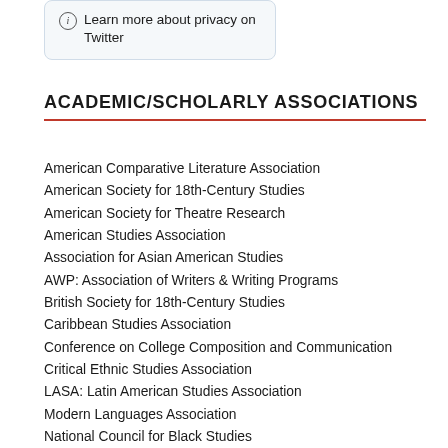Learn more about privacy on Twitter
ACADEMIC/SCHOLARLY ASSOCIATIONS
American Comparative Literature Association
American Society for 18th-Century Studies
American Society for Theatre Research
American Studies Association
Association for Asian American Studies
AWP: Association of Writers & Writing Programs
British Society for 18th-Century Studies
Caribbean Studies Association
Conference on College Composition and Communication
Critical Ethnic Studies Association
LASA: Latin American Studies Association
Modern Languages Association
National Council for Black Studies
National Women's Studies Association
Native American and Indigenous Studies Association